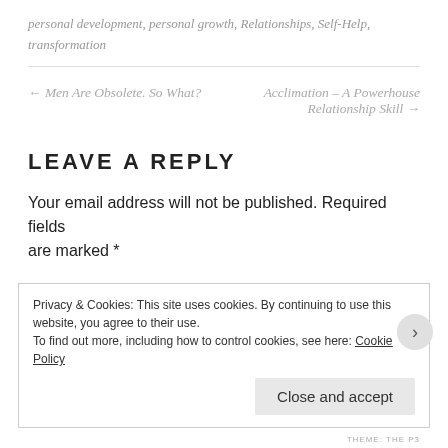personal development, personal growth, Relationships, Self-Help, transformation
← Men Are Obsolete. So What?
Acclimation – A Powerhouse Relationship Skill →
LEAVE A REPLY
Your email address will not be published. Required fields are marked *
Privacy & Cookies: This site uses cookies. By continuing to use this website, you agree to their use. To find out more, including how to control cookies, see here: Cookie Policy
THEME: THE P3